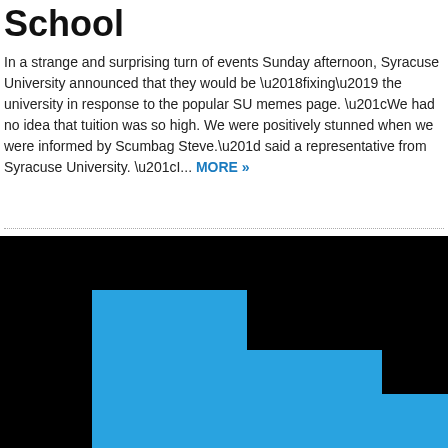School
In a strange and surprising turn of events Sunday afternoon, Syracuse University announced that they would be ‘fixing’ the university in response to the popular SU memes page. “We had no idea that tuition was so high. We were positively stunned when we were informed by Scumbag Steve.” said a representative from Syracuse University. “I... MORE »
[Figure (illustration): A blue staircase-shaped geometric figure on a black background, resembling a descending step pattern made of blue rectangles.]